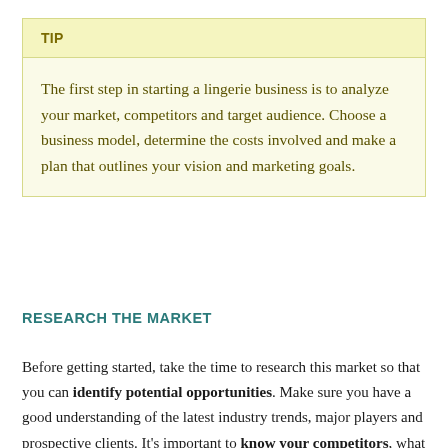TIP
The first step in starting a lingerie business is to analyze your market, competitors and target audience. Choose a business model, determine the costs involved and make a plan that outlines your vision and marketing goals.
RESEARCH THE MARKET
Before getting started, take the time to research this market so that you can identify potential opportunities. Make sure you have a good understanding of the latest industry trends, major players and prospective clients. It's important to know your competitors, what they offer and what they do